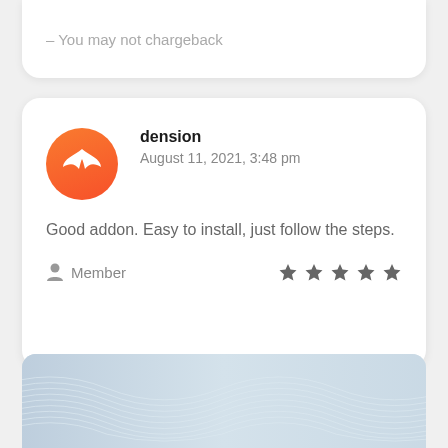- You may not chargeback
dension
August 11, 2021, 3:48 pm

Good addon. Easy to install, just follow the steps.

Member ★★★★★
[Figure (photo): Banner image with wave/mesh background and text 'DarkHostin' where 'Dark' is white and 'Hostin' is blue]